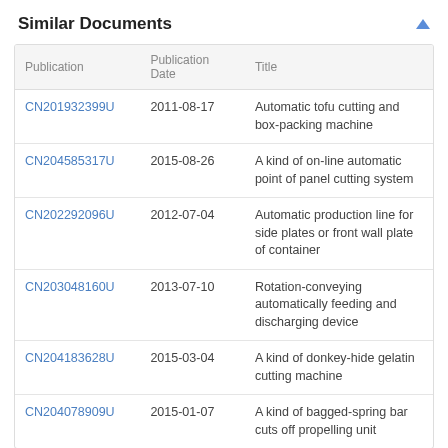Similar Documents
| Publication | Publication Date | Title |
| --- | --- | --- |
| CN201932399U | 2011-08-17 | Automatic tofu cutting and box-packing machine |
| CN204585317U | 2015-08-26 | A kind of on-line automatic point of panel cutting system |
| CN202292096U | 2012-07-04 | Automatic production line for side plates or front wall plate of container |
| CN203048160U | 2013-07-10 | Rotation-conveying automatically feeding and discharging device |
| CN204183628U | 2015-03-04 | A kind of donkey-hide gelatin cutting machine |
| CN204078909U | 2015-01-07 | A kind of bagged-spring bar cuts off propelling unit |